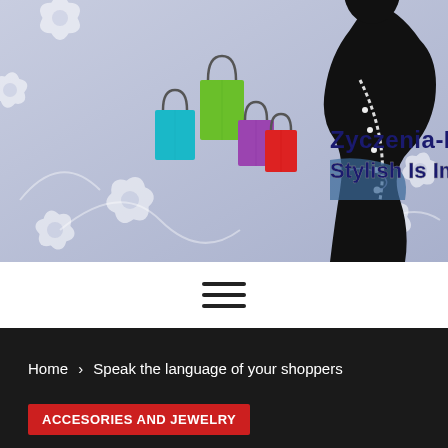[Figure (illustration): Fashion blog banner with lavender/gray floral background, colorful shopping bags (teal, green, purple, red), silhouette of woman with flower in hair and pearl necklace, text 'Zyczenia-Fashion Stylish Is Important']
≡ (hamburger menu icon)
Home > Speak the language of your shoppers
ACCESORIES AND JEWELRY